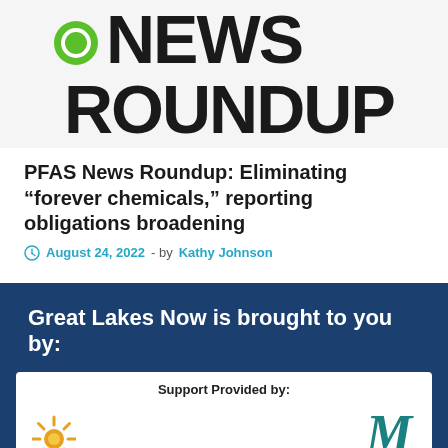[Figure (logo): News Roundup logo: green circle with white inner ring on the left of 'NEWS ROUNDUP' text in large bold black letters]
PFAS News Roundup: Eliminating “forever chemicals,” reporting obligations broadening
August 24, 2022 - by Kathy Johnson
Great Lakes Now is brought to you by:
Support Provided by:
[Figure (logo): Fred A. and Barbara M. sponsorship logo with sunburst/flower graphic on left and stylized M logo on right]